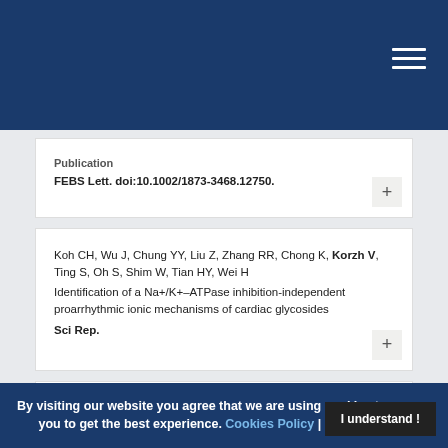FEBS Lett. doi:10.1002/1873-3468.12750.
Koh CH, Wu J, Chung YY, Liu Z, Zhang RR, Chong K, Korzh V, Ting S, Oh S, Shim W, Tian HY, Wei H Identification of a Na+/K+-ATPase inhibition-independent proarrhythmic ionic mechanisms of cardiac glycosides Sci Rep.
Tan SY, Teh C, Ang CY, Li M, Li P, Korzh V, Zhao Y Responsive mesoporous silica nanoparticles for sensing of hydrogen peroxide and simultaneous treatment toward heart failure
Owczarz M, Budzinska M, Domaszewska-Szostek A
By visiting our website you agree that we are using cookies to ensure you to get the best experience. Cookies Policy | Privacy Policy